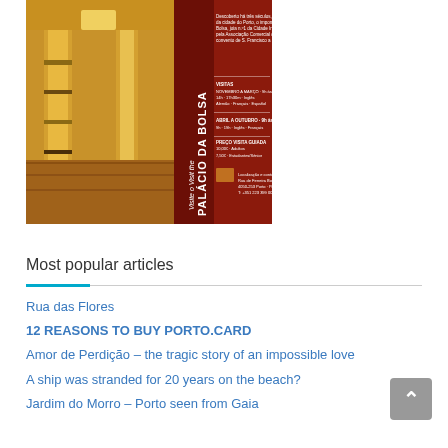[Figure (photo): A promotional poster for Palácio da Bolsa in Porto. Left side shows interior photo of ornate golden pillars and decorative floor. Right side is dark red/maroon with vertical white text reading 'Visite o / Visit the / PALÁCIO DA BOLSA' and additional informational text in white.]
Most popular articles
Rua das Flores
12 REASONS TO BUY PORTO.CARD
Amor de Perdição – the tragic story of an impossible love
A ship was stranded for 20 years on the beach?
Jardim do Morro – Porto seen from Gaia